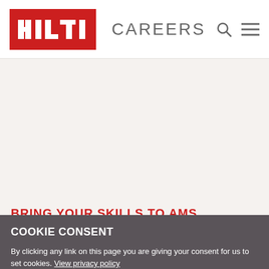HILTI CAREERS
[Figure (logo): Hilti red logo with white HILTI text on red background]
BRING YOUR SKILLS TO AMS
AMS is built on delivering the highest possible levels of
COOKIE CONSENT
By clicking any link on this page you are giving your consent for us to set cookies. View privacy policy
I accept